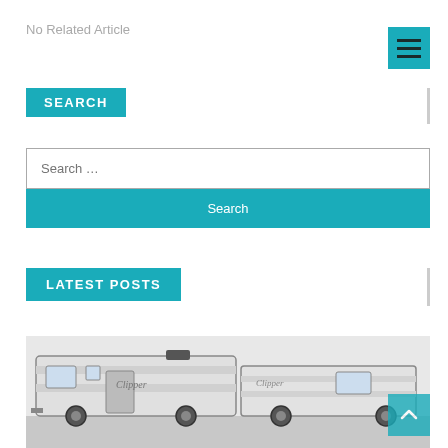No Related Article
[Figure (other): Hamburger menu icon on teal background]
SEARCH
Search ...
Search
LATEST POSTS
[Figure (photo): Photo of Clipper RV/travel trailer]
[Figure (other): Back to top arrow button on teal background]